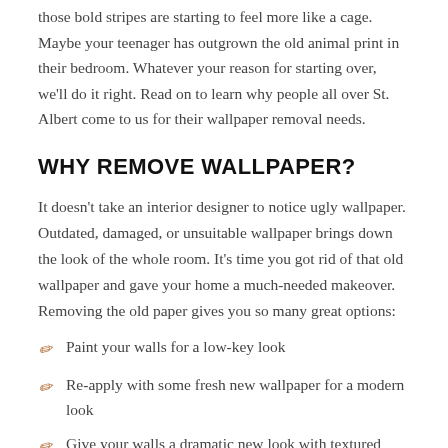those bold stripes are starting to feel more like a cage. Maybe your teenager has outgrown the old animal print in their bedroom. Whatever your reason for starting over, we'll do it right. Read on to learn why people all over St. Albert come to us for their wallpaper removal needs.
WHY REMOVE WALLPAPER?
It doesn't take an interior designer to notice ugly wallpaper. Outdated, damaged, or unsuitable wallpaper brings down the look of the whole room. It's time you got rid of that old wallpaper and gave your home a much-needed makeover. Removing the old paper gives you so many great options:
Paint your walls for a low-key look
Re-apply with some fresh new wallpaper for a modern look
Give your walls a dramatic new look with textured paint or faux finishes.